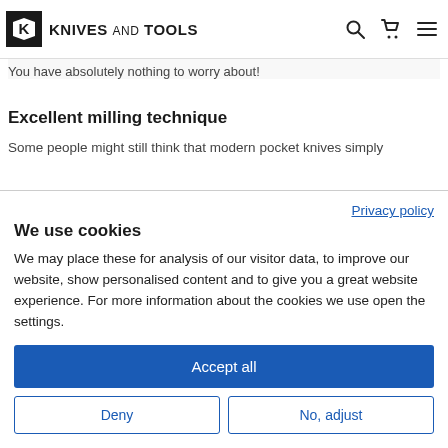KNIVES AND TOOLS
is etched on the outside. This is obviously not spot also, when and such a pretty tough, but flexible and full definitely humble to over You have absolutely nothing to worry about!
Excellent milling technique
Some people might still think that modern pocket knives simply
We use cookies
We may place these for analysis of our visitor data, to improve our website, show personalised content and to give you a great website experience. For more information about the cookies we use open the settings.
Privacy policy
Accept all
Deny
No, adjust